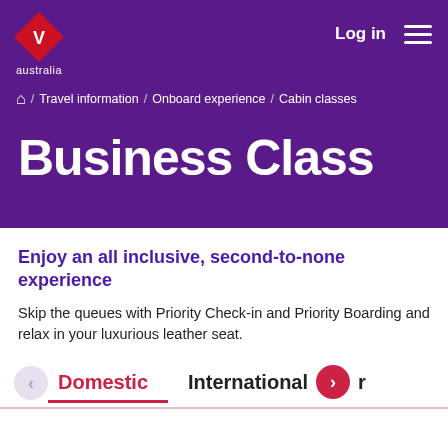[Figure (logo): Virgin Australia logo: red diamond shape with white bird/text, 'australia' text below in white]
Log in
/ Travel information / Onboard experience / Cabin classes
Business Class
Enjoy an all inclusive, second-to-none experience
Skip the queues with Priority Check-in and Priority Boarding and relax in your luxurious leather seat.
Domestic   International r